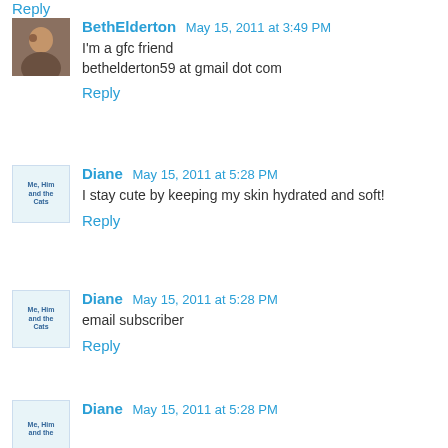Reply
BethElderton  May 15, 2011 at 3:49 PM
I'm a gfc friend
bethelderton59 at gmail dot com
Reply
Diane  May 15, 2011 at 5:28 PM
I stay cute by keeping my skin hydrated and soft!
Reply
Diane  May 15, 2011 at 5:28 PM
email subscriber
Reply
Diane  May 15, 2011 at 5:28 PM